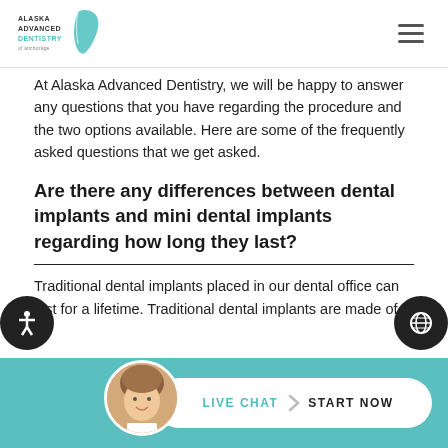Alaska Advanced Dentistry
At Alaska Advanced Dentistry, we will be happy to answer any questions that you have regarding the procedure and the two options available. Here are some of the frequently asked questions that we get asked.
Are there any differences between dental implants and mini dental implants regarding how long they last?
Traditional dental implants placed in our dental office can last for a lifetime. Traditional dental implants are made of